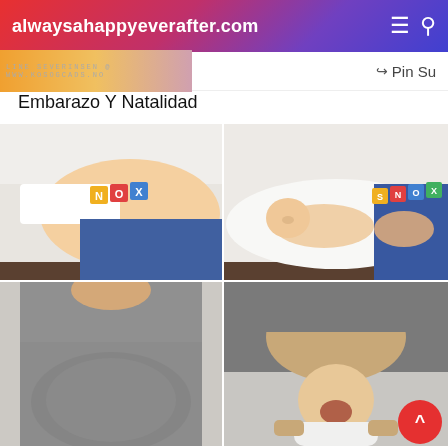alwaysahappyeverafter.com
Pin Su
Embarazo Y Natalidad
[Figure (photo): 2x2 grid of pregnancy and newborn photos: top-left shows pregnant belly lying down with colorful letter blocks spelling KNOX on belly; top-right shows newborn baby sleeping on pillow with same blocks; bottom-left shows pregnant woman in gray shirt standing; bottom-right shows woman in gray shirt holding crying/yawning newborn baby.]